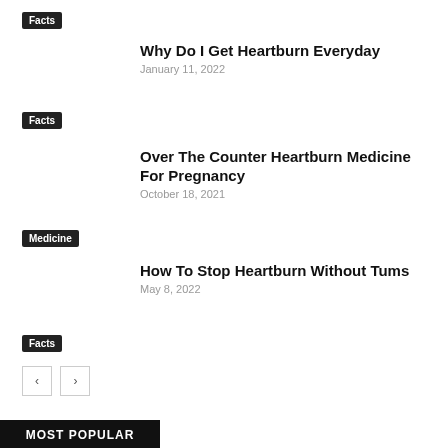Facts
Why Do I Get Heartburn Everyday
January 11, 2022
Facts
Over The Counter Heartburn Medicine For Pregnancy
October 18, 2021
Medicine
How To Stop Heartburn Without Tums
May 8, 2022
Facts
MOST POPULAR